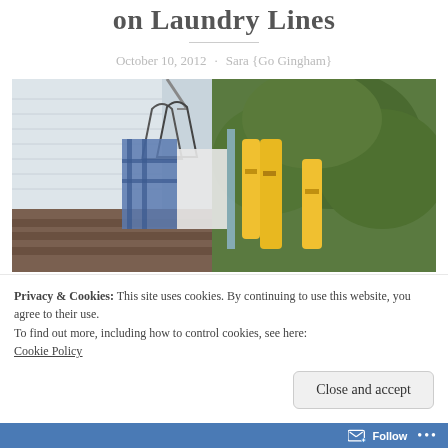on Laundry Lines
October 10, 2012  ·  Sara {Go Gingham}
[Figure (photo): Outdoor photo showing clothespins and hangers on a laundry line, with yellow clothespins in the foreground and green trees/shrubs in the background. Clothes and hangers are visible hanging from a rack near a white-sided building.]
Privacy & Cookies: This site uses cookies. By continuing to use this website, you agree to their use.
To find out more, including how to control cookies, see here:
Cookie Policy
Close and accept
Follow